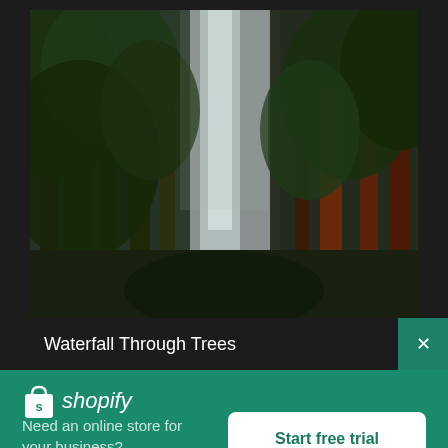[Figure (photo): Forest scene with tall trees and a waterfall visible through the trees in the background, dark moody lighting]
Waterfall Through Trees
[Figure (logo): Shopify logo — white shopping bag icon with 's' and italic 'shopify' text in white]
Need an online store for your business?
Start free trial